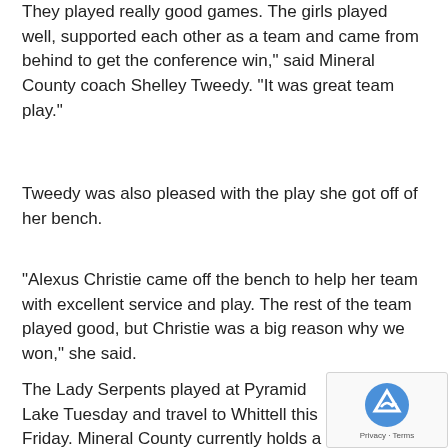They played really good games. The girls played well, supported each other as a team and came from behind to get the conference win," said Mineral County coach Shelley Tweedy. "It was great team play."
Tweedy was also pleased with the play she got off of her bench.
"Alexus Christie came off the bench to help her team with excellent service and play. The rest of the team played good, but Christie was a big reason why we won," she said.
The Lady Serpents played at Pyramid Lake Tuesday and travel to Whittell this Friday. Mineral County currently holds a one game lead over the Warriors.